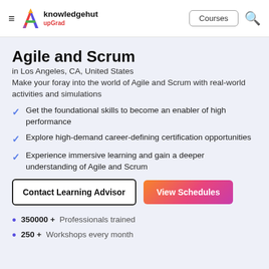KnowledgeHut upGrad — Courses
Agile and Scrum
in Los Angeles, CA, United States
Make your foray into the world of Agile and Scrum with real-world activities and simulations
Get the foundational skills to become an enabler of high performance
Explore high-demand career-defining certification opportunities
Experience immersive learning and gain a deeper understanding of Agile and Scrum
Contact Learning Advisor | View Schedules
350000 +  Professionals trained
250 +  Workshops every month